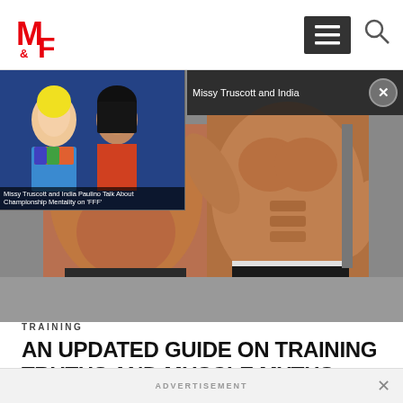M&F (Muscle & Fitness) navigation bar with logo, hamburger menu, and search icon
[Figure (photo): Two bodybuilders posing in a gym, one showing back muscles, one facing forward flexing; with a thumbnail overlay of two women on a TV show and a popup overlay reading 'Missy Truscott and India']
Missy Truscott and India Paulino Talk About Championship Mentality on 'FFF'
TRAINING
AN UPDATED GUIDE ON TRAINING TRUTHS AND MUSCLE MYTHS
The more fitness changes, the more most of it stays
ADVERTISEMENT